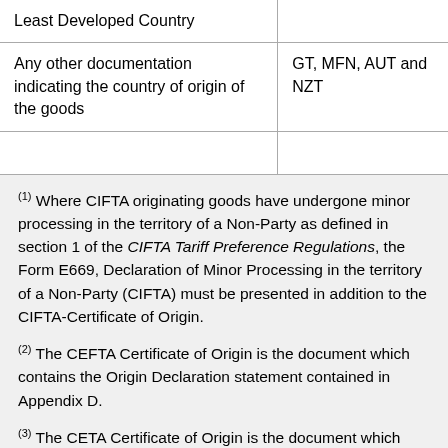| Least Developed Country |  |
| Any other documentation indicating the country of origin of the goods | GT, MFN, AUT and NZT |
|  |  |
(1) Where CIFTA originating goods have undergone minor processing in the territory of a Non-Party as defined in section 1 of the CIFTA Tariff Preference Regulations, the Form E669, Declaration of Minor Processing in the territory of a Non-Party (CIFTA) must be presented in addition to the CIFTA-Certificate of Origin.
(2) The CEFTA Certificate of Origin is the document which contains the Origin Declaration statement contained in Appendix D.
(3) The CETA Certificate of Origin is the document which contains the Origin Declaration statement contained in Appendix E.
(4) The CUFTCA Certificate of Origin is the document which